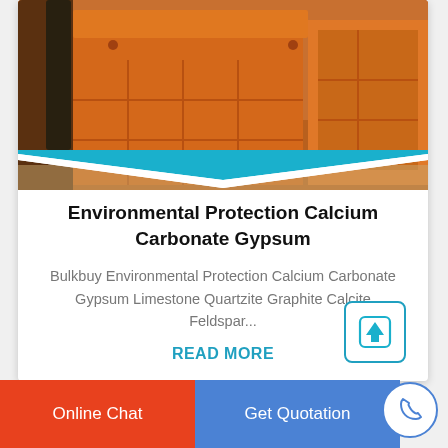[Figure (photo): Industrial orange-painted heavy machinery (impact crusher or similar mineral processing equipment) in a factory/warehouse setting.]
Environmental Protection Calcium Carbonate Gypsum
Bulkbuy Environmental Protection Calcium Carbonate Gypsum Limestone Quartzite Graphite Calcite Feldspar...
READ MORE
Online Chat | Get Quotation